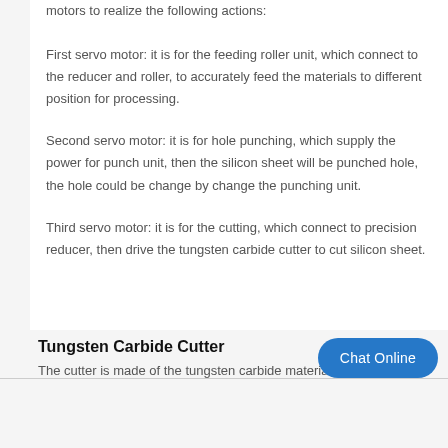motors to realize the following actions:
First servo motor: it is for the feeding roller unit, which connect to the reducer and roller, to accurately feed the materials to different position for processing.
Second servo motor: it is for hole punching, which supply the power for punch unit, then the silicon sheet will be punched hole, the hole could be change by change the punching unit.
Third servo motor: it is for the cutting, which connect to precision reducer, then drive the tungsten carbide cutter to cut silicon sheet.
Tungsten Carbide Cutter
The cutter is made of the tungsten carbide material...